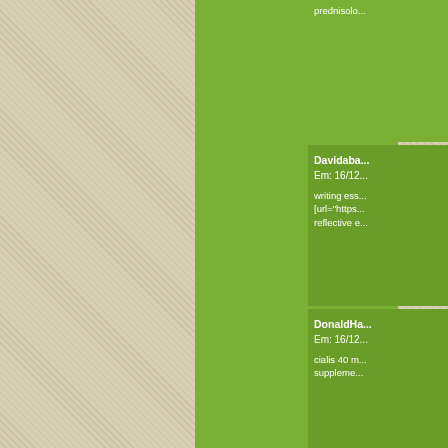prednisolо...
Davidaba...
Em: 16/12...

writing ess...
[url="https...
reflective e...
DonaldHa...
Em: 16/12...

cialis 40 m...
supplemen...
DonaldHa...
Em: 16/12...